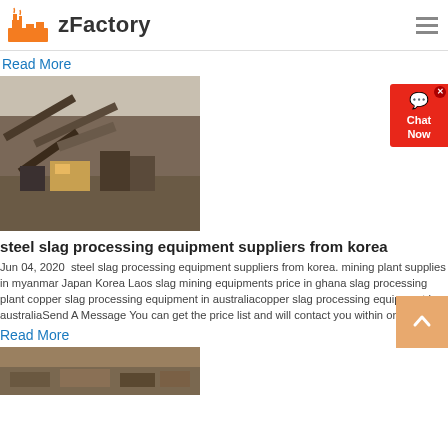zFactory
Read More
[Figure (photo): Industrial steel slag processing equipment and conveyor belts at a mining facility]
steel slag processing equipment suppliers from korea
Jun 04, 2020  steel slag processing equipment suppliers from korea. mining plant supplies in myanmar Japan Korea Laos slag mining equipments price in ghana slag processing plant copper slag processing equipment in australiacopper slag processing equipment in australiaSend A Message You can get the price list and will contact you within one .
Read More
[Figure (photo): Aerial or ground view of slag or mineral processing site with rocky terrain]